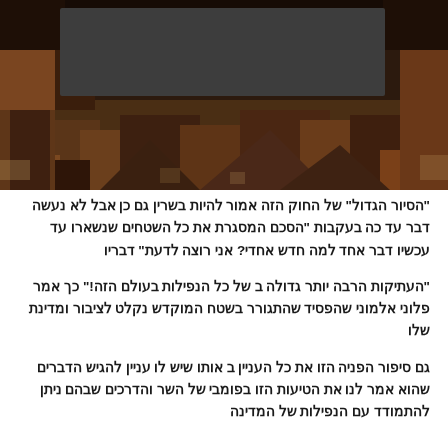[Figure (photo): Aerial or ground-level photograph of rocky terrain/ruins with a dark rectangular overlay covering part of the image]
“הסיור הגדול” של החוק הזה אמור להיות בשרין גם כן אבל לא נעשה דבר עד כה בעקבות "הסכם המסגרת את כל השטחים שנשארו עד עכשיו דבר אחד למה חדש אחדי? אני רוצה לדעת" דבריו
"העתיקות הרבה יותר גדולה ב של כל הנפילות בעולם הז!" כך אמר פלוני אלמוני שהפסיד שהתגורר בשטח המוקדש נקלט לציבור ומדינת שלו
גם סיפור הפנייה הזו את כל העניין ב אותו שיש לו ענין להגיש הדברים שהוא אמר לנו את הטיעות הזו בפומבי של השר והדרכים שבהם ניתן להתמודד עם הנפילות של המדינה